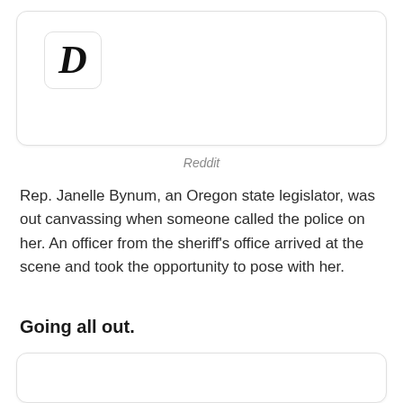[Figure (logo): A card with a bold italic letter D logo resembling the Digg logo]
Reddit
Rep. Janelle Bynum, an Oregon state legislator, was out canvassing when someone called the police on her. An officer from the sheriff's office arrived at the scene and took the opportunity to pose with her.
Going all out.
[Figure (photo): A card/image block at the bottom of the page (content not visible)]